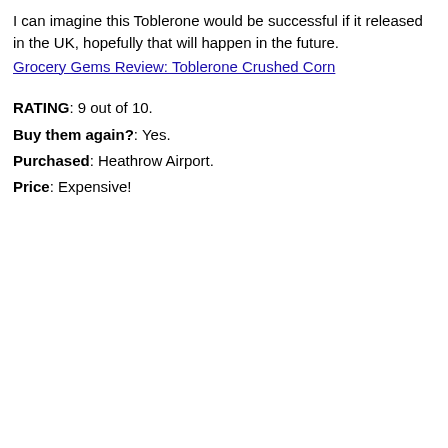I can imagine this Toblerone would be successful if it released in the UK, hopefully that will happen in the future. Grocery Gems Review: Toblerone Crushed Corn
RATING: 9 out of 10. Buy them again?: Yes. Purchased: Heathrow Airport. Price: Expensive!